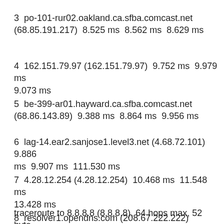3  po-101-rur02.oakland.ca.sfba.comcast.net (68.85.191.217)  8.525 ms  8.562 ms  8.629 ms
4  162.151.79.97 (162.151.79.97)  9.752 ms  9.979 ms 9.073 ms
5  be-399-ar01.hayward.ca.sfba.comcast.net (68.86.143.89)  9.388 ms  8.864 ms  9.956 ms
6  lag-14.ear2.sanjose1.level3.net (4.68.72.101)  9.886 ms  9.907 ms  111.530 ms
7  4.28.12.254 (4.28.12.254)  10.468 ms  11.548 ms 13.428 ms
8  resolver1.opendns.com (208.67.222.222)  11.209 ms  10.614 ms  10.883 ms
traceroute to 8.8.8.8 (8.8.8.8), 64 hops max, 52 byte